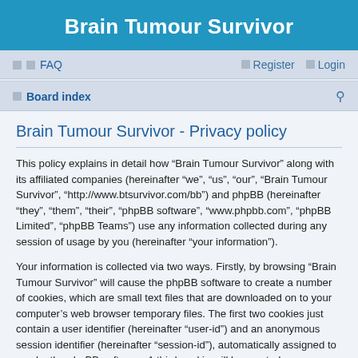Brain Tumour Survivor
FAQ   Register   Login
Board index
Brain Tumour Survivor - Privacy policy
This policy explains in detail how “Brain Tumour Survivor” along with its affiliated companies (hereinafter “we”, “us”, “our”, “Brain Tumour Survivor”, “http://www.btsurvivor.com/bb”) and phpBB (hereinafter “they”, “them”, “their”, “phpBB software”, “www.phpbb.com”, “phpBB Limited”, “phpBB Teams”) use any information collected during any session of usage by you (hereinafter “your information”).
Your information is collected via two ways. Firstly, by browsing “Brain Tumour Survivor” will cause the phpBB software to create a number of cookies, which are small text files that are downloaded on to your computer’s web browser temporary files. The first two cookies just contain a user identifier (hereinafter “user-id”) and an anonymous session identifier (hereinafter “session-id”), automatically assigned to you by the phpBB software. A third cookie will be created once you have browsed topics within “Brain Tumour Survivor” and is used to store which topics have been read, thereby improving your user experience.
We may also create cookies external to the phpBB software whilst browsing